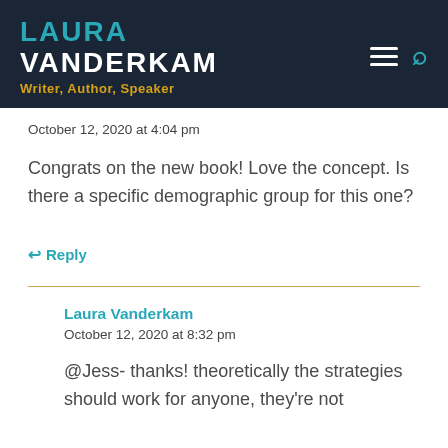LAURA VANDERKAM — Writer, Author, Speaker
October 12, 2020 at 4:04 pm
Congrats on the new book! Love the concept. Is there a specific demographic group for this one?
↩ Reply
Laura Vanderkam
October 12, 2020 at 8:32 pm
@Jess- thanks! theoretically the strategies should work for anyone, they're not